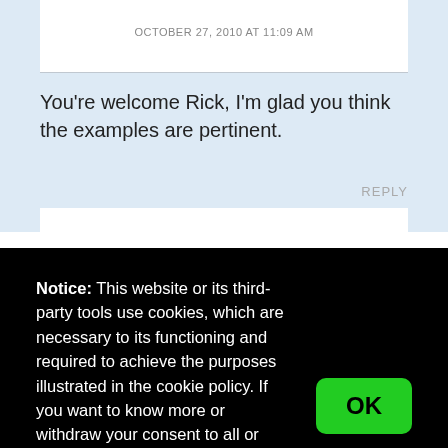OCTOBER 27, 2010 AT 11:09 AM
You're welcome Rick, I'm glad you think the examples are pertinent.
REPLY
Notice: This website or its third-party tools use cookies, which are necessary to its functioning and required to achieve the purposes illustrated in the cookie policy. If you want to know more or withdraw your consent to all or some of the cookies, please refer to the cookie policy. By closing this banner, scrolling this page, clicking a link or continuing to browse otherwise, you agree to the use of cookies.